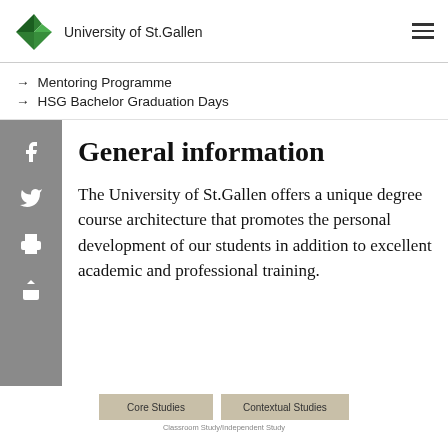University of St.Gallen
→ Mentoring Programme
→ HSG Bachelor Graduation Days
General information
The University of St.Gallen offers a unique degree course architecture that promotes the personal development of our students in addition to excellent academic and professional training.
[Figure (infographic): Partial view of a chart showing 'Core Studies' and 'Contextual Studies' bars with label 'Classroom Study/Independent Study' below]